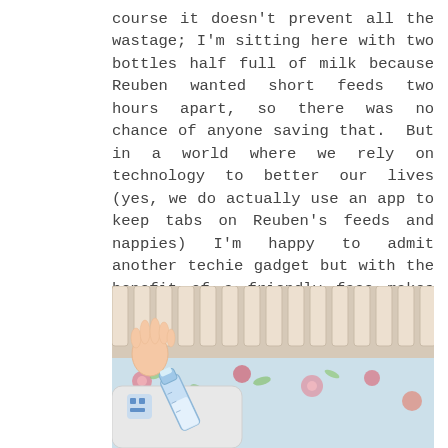course it doesn't prevent all the wastage; I'm sitting here with two bottles half full of milk because Reuben wanted short feeds two hours apart, so there was no chance of anyone saving that.  But in a world where we rely on technology to better our lives (yes, we do actually use an app to keep tabs on Reuben's feeds and nappies) I'm happy to admit another techie gadget but with the benefit of a friendly face makes parent life that bit saner.
[Figure (photo): A baby lying in a white wooden crib with vertical slats, wearing a patterned onesie, reaching up with one hand. A baby bottle is visible. The crib has a floral patterned sheet.]